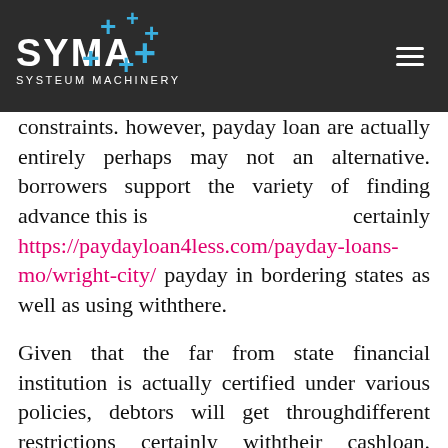SYMA+ SYSTEUM MACHINERY [navigation bar with logo and hamburger menu]
constraints. however, payday loan are actually entirely perhaps may not an alternative. borrowers support the variety of finding advance this is certainly https://paydayloan4less.com/payday-loans-mo/wright-city/ payday in bordering states as well as using withthere.
Given that the far from state financial institution is actually certified under various policies, debtors will get throughdifferent restrictions certainly withtheir cashloan. Through the course with this right time around, society needs to be warned with this circumstances that is different once